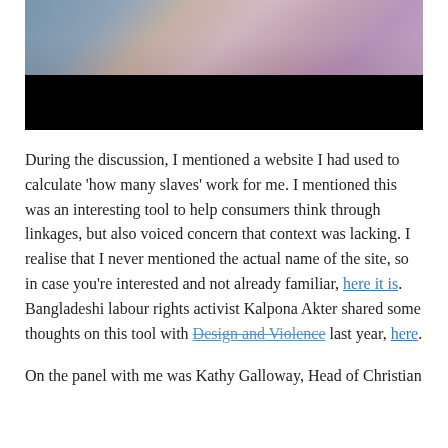[Figure (photo): A photo showing people, partially obscured by a large black bar at the bottom. The upper portion shows blurred figures with blue, pink, and purple tones.]
During the discussion, I mentioned a website I had used to calculate 'how many slaves' work for me. I mentioned this was an interesting tool to help consumers think through linkages, but also voiced concern that context was lacking. I realise that I never mentioned the actual name of the site, so in case you're interested and not already familiar, here it is. Bangladeshi labour rights activist Kalpona Akter shared some thoughts on this tool with Design and Violence last year, here.
On the panel with me was Kathy Galloway, Head of Christian